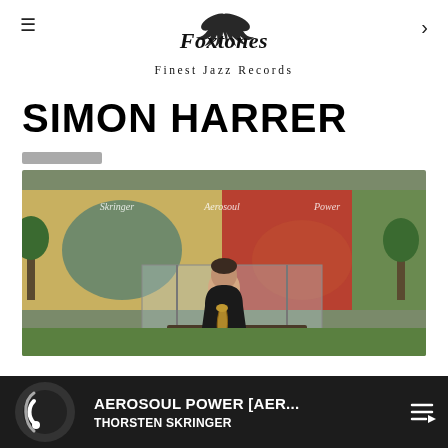Foxtones – Finest Jazz Records
SIMON HARRER
[Figure (photo): A man in a black jacket sitting on a bench outdoors, holding a saxophone. Behind him is a colorful mural with text reading 'Skringer', 'Aerosoul', 'Power'.]
AEROSOUL POWER [AER... THORSTEN SKRINGER